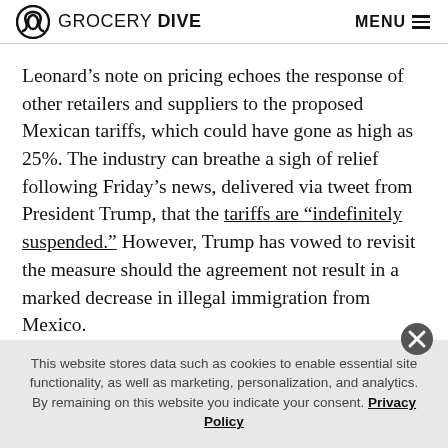GROCERY DIVE  MENU
Leonard’s note on pricing echoes the response of other retailers and suppliers to the proposed Mexican tariffs, which could have gone as high as 25%. The industry can breathe a sigh of relief following Friday’s news, delivered via tweet from President Trump, that the tariffs are “indefinitely suspended.” However, Trump has vowed to revisit the measure should the agreement not result in a marked decrease in illegal immigration from Mexico.
This website stores data such as cookies to enable essential site functionality, as well as marketing, personalization, and analytics. By remaining on this website you indicate your consent. Privacy Policy